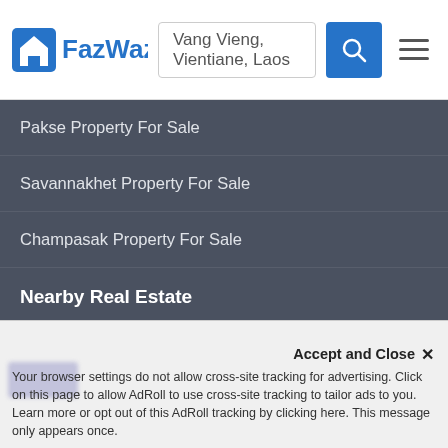[Figure (logo): FazWaz logo with house icon and blue text]
Vang Vieng, Vientiane, Laos
Pakse Property For Sale
Savannakhet Property For Sale
Champasak Property For Sale
Nearby Real Estate
Houses For Sale Near Me
Land For Sale Near Me
Villas For Sale Near Me
Condos For Sale Near Me
Townhouses For Sale Near Me
Apartments For Sale Near Me
Accept and Close ✕
Your browser settings do not allow cross-site tracking for advertising. Click on this page to allow AdRoll to use cross-site tracking to tailor ads to you. Learn more or opt out of this AdRoll tracking by clicking here. This message only appears once.